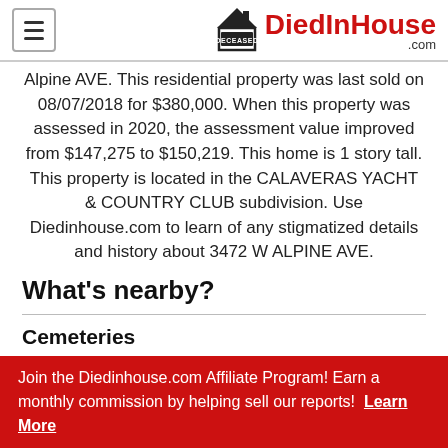DiedInHouse.com
Alpine AVE. This residential property was last sold on 08/07/2018 for $380,000. When this property was assessed in 2020, the assessment value improved from $147,275 to $150,219. This home is 1 story tall. This property is located in the CALAVERAS YACHT & COUNTRY CLUB subdivision. Use Diedinhouse.com to learn of any stigmatized details and history about 3472 W ALPINE AVE.
What's nearby?
Cemeteries
2 miles from Central United Methodist Church Cemetery
3 miles from Casa Bonita Museum
Join the Diedinhouse.com Affiliate Program! Earn a monthly commission by helping sell our reports! Learn More